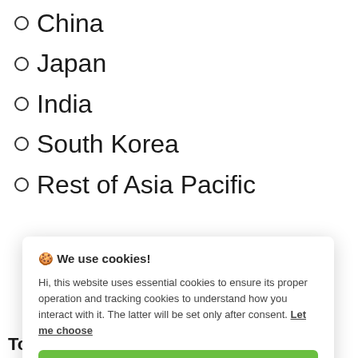China
Japan
India
South Korea
Rest of Asia Pacific
🍪 We use cookies!

Hi, this website uses essential cookies to ensure its proper operation and tracking cookies to understand how you interact with it. The latter will be set only after consent. Let me choose

Accept all

Reject all
To know an additional revised 2022